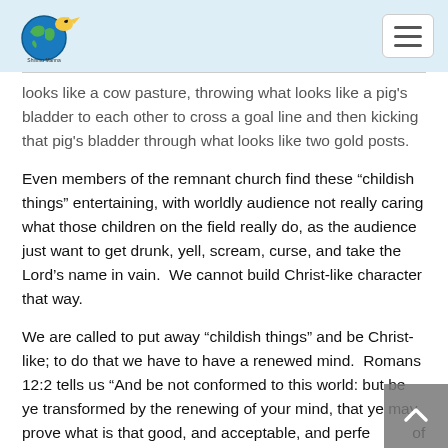Shining Manna logo and navigation menu
looks like a cow pasture, throwing what looks like a pig's bladder to each other to cross a goal line and then kicking that pig's bladder through what looks like two gold posts.
Even members of the remnant church find these “childish things” entertaining, with worldly audience not really caring what those children on the field really do, as the audience just want to get drunk, yell, scream, curse, and take the Lord’s name in vain.  We cannot build Christ-like character that way.
We are called to put away “childish things” and be Christ-like; to do that we have to have a renewed mind.  Romans 12:2 tells us “And be not conformed to this world: but be ye transformed by the renewing of your mind, that ye may prove what is that good, and acceptable, and perfe… of God.”  Is it a minor issue to write on this subject…